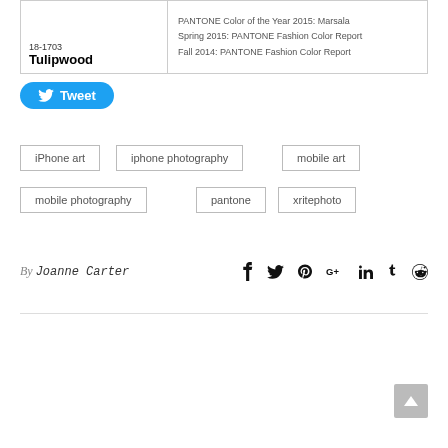[Figure (screenshot): Partial card showing color swatch with number '18-1703' and name 'Tulipwood' on the left, and links 'PANTONE Color of the Year 2015: Marsala', 'Spring 2015: PANTONE Fashion Color Report', 'Fall 2014: PANTONE Fashion Color Report' on the right]
Tweet
iPhone art
iphone photography
mobile art
mobile photography
pantone
xritephoto
By Joanne Carter
[Figure (infographic): Social media share icons: Facebook, Twitter, Pinterest, Google+, LinkedIn, Tumblr, Reddit]